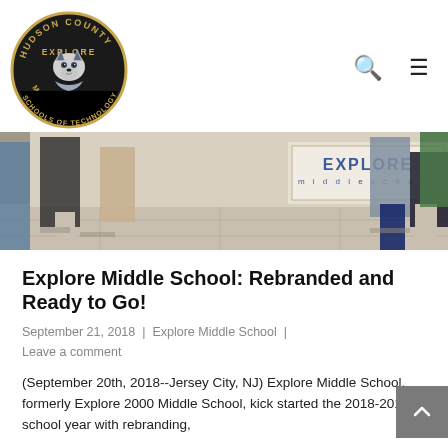[Figure (logo): Hudson County Explore Middle Schools of Technology circular logo with wolf mascot]
[Figure (photo): Students standing outside the Explore Middle School building near a sign that reads EXPLORE middle school]
Explore Middle School: Rebranded and Ready to Go!
September 21, 2018  |  Explore Middle School  |  Leave a comment
(September 20th, 2018--Jersey City, NJ) Explore Middle School, formerly Explore 2000 Middle School, kick started the 2018-2019 school year with rebranding,